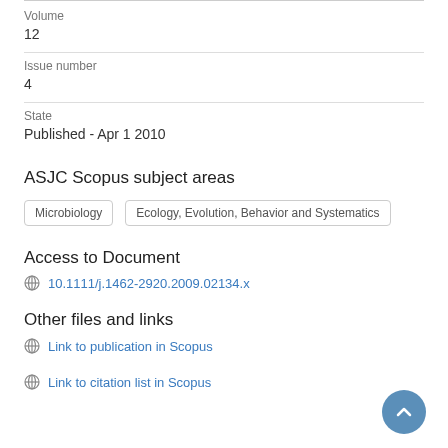Volume
12
Issue number
4
State
Published - Apr 1 2010
ASJC Scopus subject areas
Microbiology | Ecology, Evolution, Behavior and Systematics
Access to Document
10.1111/j.1462-2920.2009.02134.x
Other files and links
Link to publication in Scopus
Link to citation list in Scopus